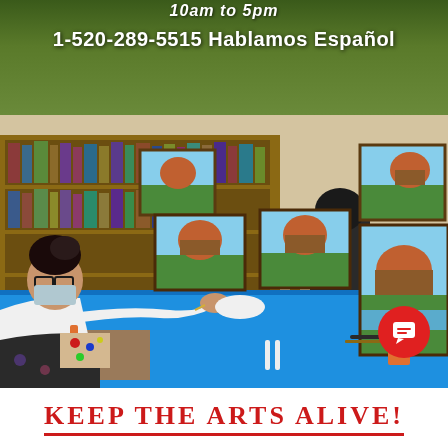10am to 5pm
1-520-289-5515 Hablamos Español
[Figure (photo): A painting class scene in a library. People sit around tables covered with blue tablecloths, working on landscape paintings showing red rock formations, mountains, and blue sky. Paintings are displayed on easels. Bookshelves are visible in the background. A woman in a white shirt and mask is prominently visible in the foreground.]
KEEP THE ARTS ALIVE!